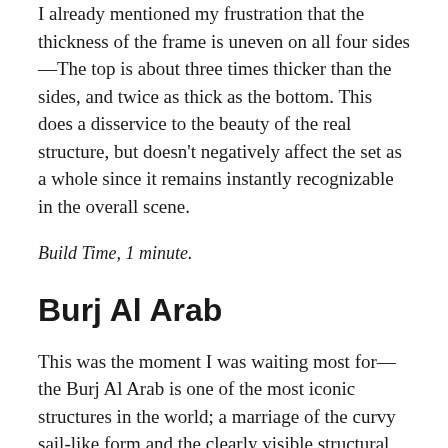I already mentioned my frustration that the thickness of the frame is uneven on all four sides—The top is about three times thicker than the sides, and twice as thick as the bottom. This does a disservice to the beauty of the real structure, but doesn't negatively affect the set as a whole since it remains instantly recognizable in the overall scene.
Build Time, 1 minute.
Burj Al Arab
This was the moment I was waiting most for—the Burj Al Arab is one of the most iconic structures in the world; a marriage of the curvy sail-like form and the clearly visible structural supports on either side. The LEGO model does not disappoint! I had so much fun assembling this model, which utilizes a huge stack of wedge plates in alternating Earth Blue (Dark Blue) and